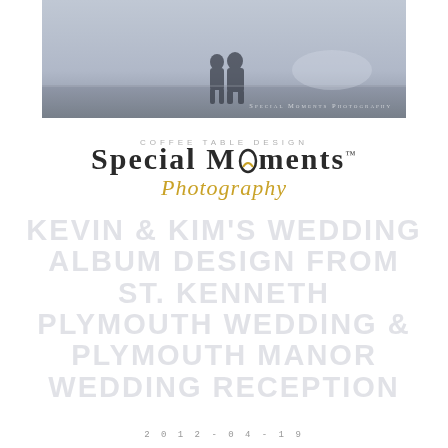[Figure (photo): Wedding photograph showing silhouetted couple, with 'Special Moments Photography' watermark in lower right]
COFFEE TABLE DESIGN
Special Moments™ Photography
KEVIN & KIM'S WEDDING ALBUM DESIGN FROM ST. KENNETH PLYMOUTH WEDDING & PLYMOUTH MANOR WEDDING RECEPTION
2012-04-19